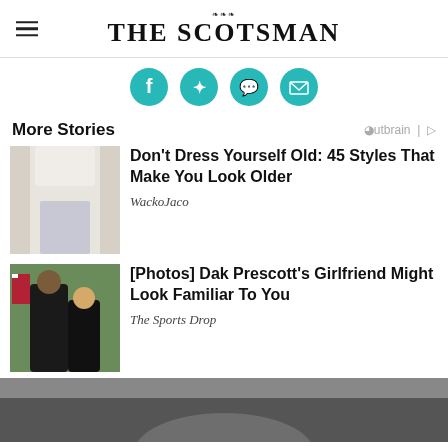THE SCOTSMAN
[Figure (infographic): Social sharing icons: Facebook, Twitter, WhatsApp, Email — teal circular icons]
More Stories
Outbrain
[Figure (photo): Photo of person in white tight pants, cropped from back]
Don't Dress Yourself Old: 45 Styles That Make You Look Older
WackoJaco
[Figure (photo): Photo of a couple, man in dark shirt and woman in black dress, outdoors with American flag]
[Photos] Dak Prescott's Girlfriend Might Look Familiar To You
The Sports Drop